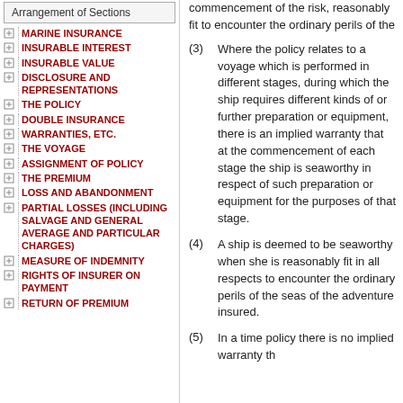Arrangement of Sections
MARINE INSURANCE
INSURABLE INTEREST
INSURABLE VALUE
DISCLOSURE AND REPRESENTATIONS
THE POLICY
DOUBLE INSURANCE
WARRANTIES, ETC.
THE VOYAGE
ASSIGNMENT OF POLICY
THE PREMIUM
LOSS AND ABANDONMENT
PARTIAL LOSSES (INCLUDING SALVAGE AND GENERAL AVERAGE AND PARTICULAR CHARGES)
MEASURE OF INDEMNITY
RIGHTS OF INSURER ON PAYMENT
RETURN OF PREMIUM
commencement of the risk, reasonably fit to encounter the ordinary perils of the
(3) Where the policy relates to a voyage which is performed in different stages, during which the ship requires different kinds of or further preparation or equipment, there is an implied warranty that at the commencement of each stage the ship is seaworthy in respect of such preparation or equipment for the purposes of that stage.
(4) A ship is deemed to be seaworthy when she is reasonably fit in all respects to encounter the ordinary perils of the seas of the adventure insured.
(5) In a time policy there is no implied warranty th